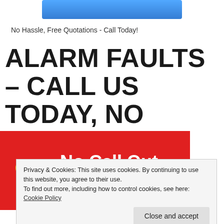[Figure (logo): Company logo banner, blue rounded rectangle at top of page]
No Hassle, Free Quotations - Call Today!
ALARM FAULTS – CALL US TODAY, NO CALL OUT CHARGES!
[Figure (infographic): Red banner with yellow phone icon and white bold text reading 'No Call Out Ch...']
Privacy & Cookies: This site uses cookies. By continuing to use this website, you agree to their use.
To find out more, including how to control cookies, see here: Cookie Policy
Close and accept
Free Quotes - Zero Call Out Charge